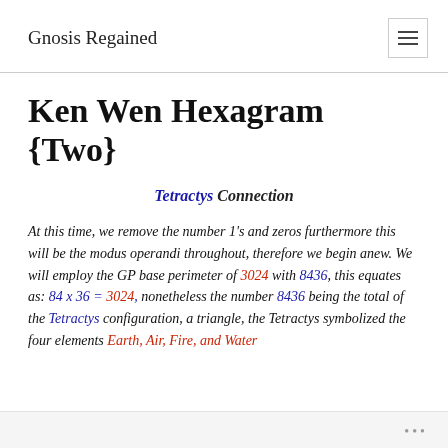Gnosis Regained
Ken Wen Hexagram {Two}
Tetractys Connection
At this time, we remove the number 1's and zeros furthermore this will be the modus operandi throughout, therefore we begin anew. We will employ the GP base perimeter of 3024 with 8436, this equates as: 84 x 36 = 3024, nonetheless the number 8436 being the total of the Tetractys configuration, a triangle, the Tetractys symbolized the four elements Earth, Air, Fire, and Water
•••